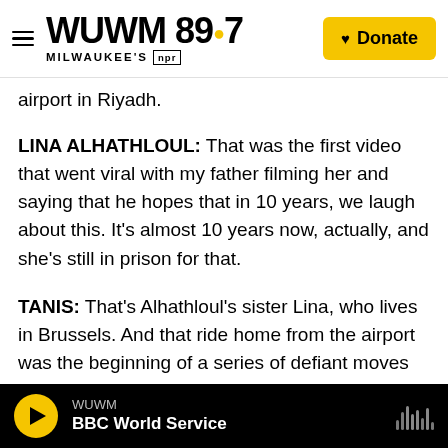WUWM 89.7 Milwaukee's NPR — Donate
airport in Riyadh.
LINA ALHATHLOUL: That was the first video that went viral with my father filming her and saying that he hopes that in 10 years, we laugh about this. It's almost 10 years now, actually, and she's still in prison for that.
TANIS: That's Alhathloul's sister Lina, who lives in Brussels. And that ride home from the airport was the beginning of a series of defiant moves that would bring her head-to-head against the powerful Saudi government. Alhathloul was in and out of jail over the years for her activism. She was finally
WUWM — BBC World Service